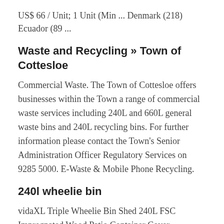US$ 66 / Unit; 1 Unit (Min ... Denmark (218) Ecuador (89 ...
Waste and Recycling » Town of Cottesloe
Commercial Waste. The Town of Cottesloe offers businesses within the Town a range of commercial waste services including 240L and 660L general waste bins and 240L recycling bins. For further information please contact the Town's Senior Administration Officer Regulatory Services on 9285 5000. E-Waste & Mobile Phone Recycling.
240l wheelie bin
vidaXL Triple Wheelie Bin Shed 240L FSC Impregnated Wood Patio Container Cover. . Usually dispatched within 3 to 4 days. BinGarden Single Wooden Slatted Wheelie Bin Store with Bi-Fold Roof. Garbage Cover Trash Storage Shed Tidy Outdoor Hideaway for up to 240L.